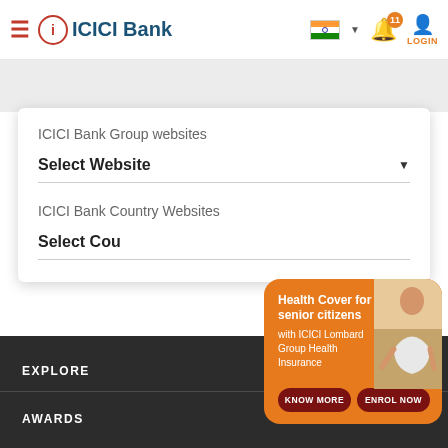ICICI Bank
ICICI Bank Group websites
Select Website
ICICI Bank Country Websites
Select Cou...
[Figure (screenshot): ICICI Lombard health insurance popup for senior citizens with orange background, showing an elderly man meditating, and two buttons: KNOW MORE and ENROL NOW]
Health Cover for senior citizens with ICICI Lombard Group Health Insurance
EXPLORE
AWARDS